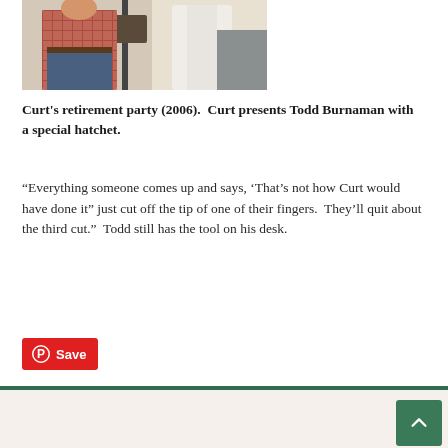[Figure (photo): Photo of a man in a red plaid shirt and jeans standing at what appears to be a music stand or presentation stand, with a white jacket or lab coat visible in the background.]
Curt's retirement party (2006).  Curt presents Todd Burnaman with a special hatchet.
“Everything someone comes up and says, ‘That’s not how Curt would have done it” just cut off the tip of one of their fingers.  They’ll quit about the third cut.”  Todd still has the tool on his desk.